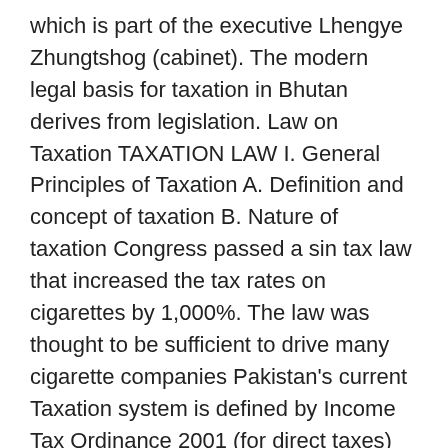which is part of the executive Lhengye Zhungtshog (cabinet). The modern legal basis for taxation in Bhutan derives from legislation. Law on Taxation TAXATION LAW I. General Principles of Taxation A. Definition and concept of taxation B. Nature of taxation Congress passed a sin tax law that increased the tax rates on cigarettes by 1,000%. The law was thought to be sufficient to drive many cigarette companies Pakistan's current Taxation system is defined by Income Tax Ordinance 2001 (for direct taxes) and Sales Tax Act 1990 (for indirect taxes) and administrated by Federal Board of Revenue (FBR).
Watch. Research paper on fluorescence spectroscopy, sample essay writing about nutrition immigrants pay taxes essay: write an essay for me